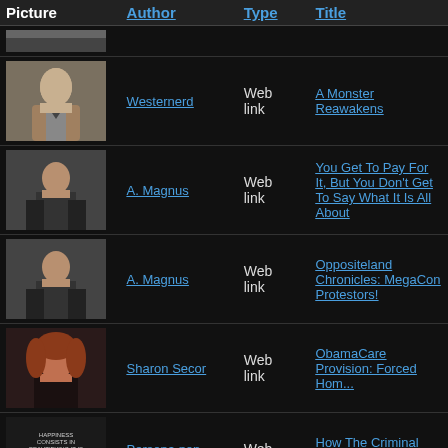| Picture | Author | Type | Title |
| --- | --- | --- | --- |
| [portrait - partial] |  | Web link |  |
| [portrait - man] | Westernerd | Web link | A Monster Reawakens |
| [portrait - woman seated] | A. Magnus | Web link | You Get To Pay For It, But You Don't Get To Say What It Is All About |
| [portrait - woman seated] | A. Magnus | Web link | Oppositeland Chronicles: MegaCon Protestors! |
| [portrait - woman redhead] | Sharon Secor | Web link | ObamaCare Provision: Forced Hom... |
| [book cover - Strange Dream] | Persona non grata | Web link | How The Criminal Banking Cartel Is... America |
| [book cover - Strange Dream] | Persona non grata | Web link | Israel And America: The "Special R... Isn't |
| [book cover - Strange Dream] | Persona non grata | Web link | Welcome to the Network of Global... |
| [portrait - partial bottom] |  |  |  |